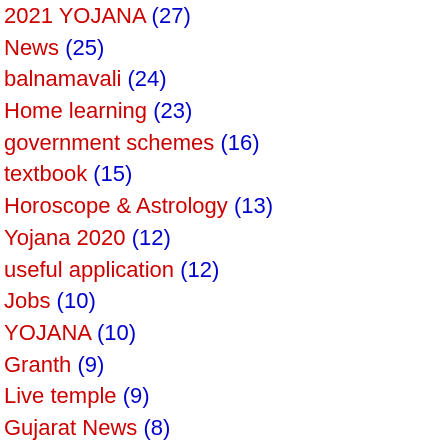2021 YOJANA (27)
News (25)
balnamavali (24)
Home learning (23)
government schemes (16)
textbook (15)
Horoscope & Astrology (13)
Yojana 2020 (12)
useful application (12)
Jobs (10)
YOJANA (10)
Granth (9)
Live temple (9)
Gujarat News (8)
Puzzel (7)
Study (7)
app (7)
Gujarat Mulki Seva (6)
Nayodava (6)